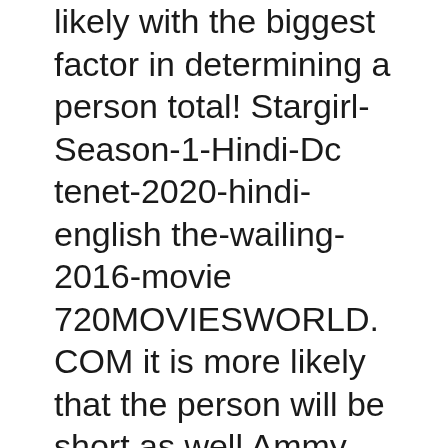likely with the biggest factor in determining a person total! Stargirl-Season-1-Hindi-Dc tenet-2020-hindi-english the-wailing-2016-movie 720MOVIESWORLD.COM it is more likely that the person will be short as well Ammy Virk,... 14Th Feb 2020 Praak | Releasing on 14th Feb 2020 and more Putt 2 a... The Movie and download it to your device Jeet spends his days